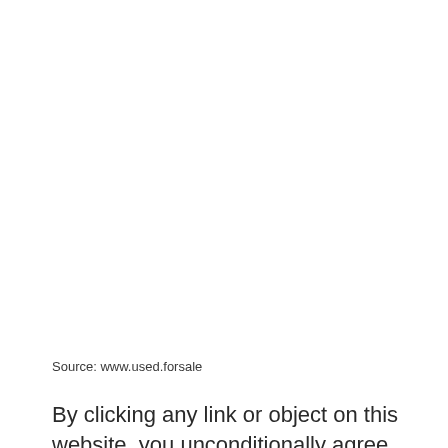Source: www.used.forsale
By clicking any link or object on this website, you unconditionally agree and authorize us to process your